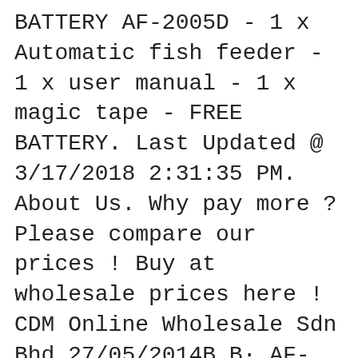BATTERY AF-2005D - 1 x Automatic fish feeder - 1 x user manual - 1 x magic tape - FREE BATTERY. Last Updated @ 3/17/2018 2:31:35 PM. About Us. Why pay more ? Please compare our prices ! Buy at wholesale prices here ! CDM Online Wholesale Sdn Bhd 27/05/2014B B· AF-2009D 1.1" LCD Automatic Aquarium Fish Feeder (2 x AAA) Product link: http://www.dx.com/p/112835 More Discounted Choices: http://www.dx.com/c/home-garden-...
07/01/2019B B· Resun AF-2009d Digital LCD Automatic Aquarium Tank Fish Feeder Timer 1 x Digital Automatic/Manual Aquarium Fish Food